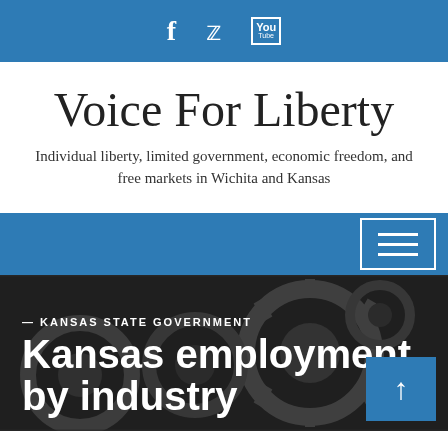f  (Twitter bird)  You
Voice For Liberty
Individual liberty, limited government, economic freedom, and free markets in Wichita and Kansas
[Figure (screenshot): Blue navigation bar with hamburger menu icon (three horizontal lines in a white bordered rectangle) on the right side]
[Figure (photo): Black and white close-up photo of industrial gears and cogs machinery, with overlaid white text reading 'KANSAS STATE GOVERNMENT' and 'Kansas employment by industry', and a blue scroll-up button in the lower right]
KANSAS STATE GOVERNMENT
Kansas employment by industry